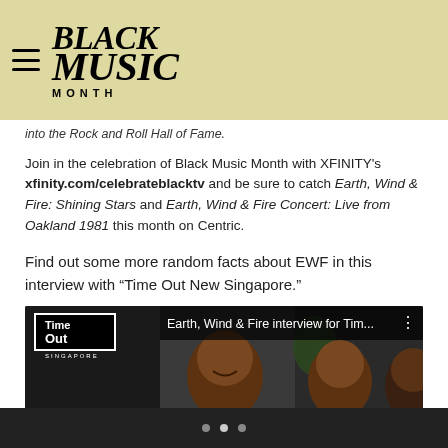BLACK MUSIC MONTH
into the Rock and Roll Hall of Fame.
Join in the celebration of Black Music Month with XFINITY's xfinity.com/celebrateblacktv and be sure to catch Earth, Wind & Fire: Shining Stars and Earth, Wind & Fire Concert: Live from Oakland 1981 this month on Centric.
Find out some more random facts about EWF in this interview with “Time Out New Singapore.”
[Figure (screenshot): Embedded video thumbnail: Earth, Wind & Fire interview for Tim... with Time Out Singapore logo overlay and three people visible]